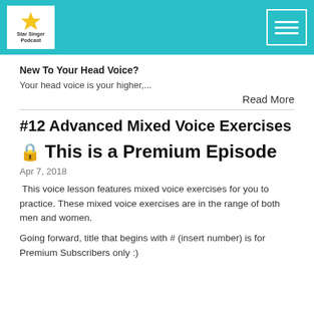Star Singer Podcast
New To Your Head Voice?
Your head voice is your higher,...
Read More
#12 Advanced Mixed Voice Exercises
🔒 This is a Premium Episode
Apr 7, 2018
This voice lesson features mixed voice exercises for you to practice. These mixed voice exercises are in the range of both men and women.
Going forward, title that begins with # (insert number) is for Premium Subscribers only :)